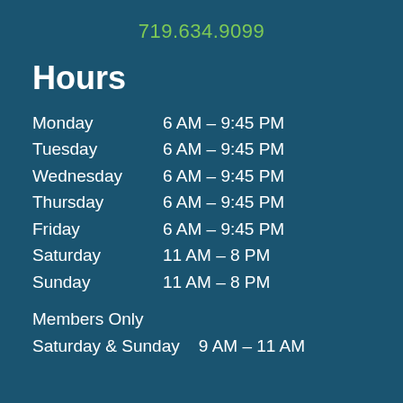719.634.9099
Hours
Monday        6 AM – 9:45 PM
Tuesday        6 AM – 9:45 PM
Wednesday   6 AM – 9:45 PM
Thursday        6 AM – 9:45 PM
Friday              6 AM – 9:45 PM
Saturday         11 AM – 8 PM
Sunday            11  AM – 8 PM
Members Only
Saturday & Sunday    9 AM – 11 AM